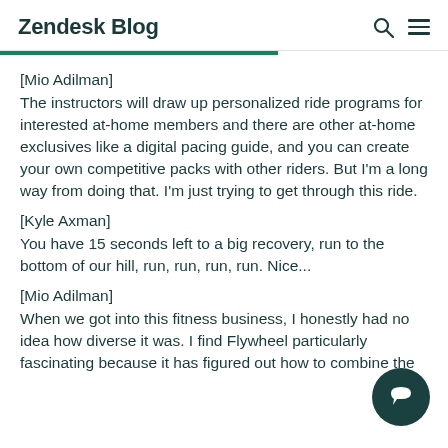Zendesk Blog
[Mio Adilman]
The instructors will draw up personalized ride programs for interested at-home members and there are other at-home exclusives like a digital pacing guide, and you can create your own competitive packs with other riders. But I'm a long way from doing that. I'm just trying to get through this ride.
[Kyle Axman]
You have 15 seconds left to a big recovery, run to the bottom of our hill, run, run, run, run. Nice...
[Mio Adilman]
When we got into this fitness business, I honestly had no idea how diverse it was. I find Flywheel particularly fascinating because it has figured out how to combine the